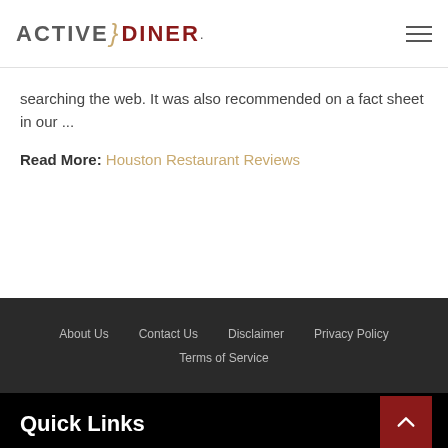ACTIVE DINER ®
searching the web. It was also recommended on a fact sheet in our ...
Read More: Houston Restaurant Reviews
About Us  Contact Us  Disclaimer  Privacy Policy  Terms of Service
Quick Links
Destinations
Sign Up for Specials
Add Your Restaurant